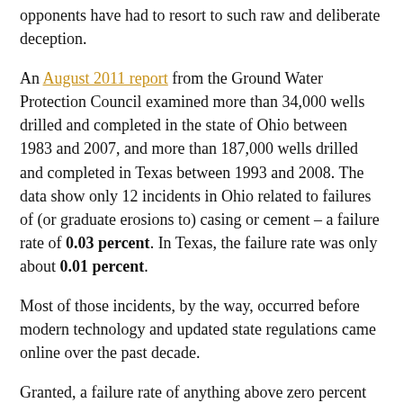opponents have had to resort to such raw and deliberate deception.
An August 2011 report from the Ground Water Protection Council examined more than 34,000 wells drilled and completed in the state of Ohio between 1983 and 2007, and more than 187,000 wells drilled and completed in Texas between 1993 and 2008. The data show only 12 incidents in Ohio related to failures of (or graduate erosions to) casing or cement – a failure rate of 0.03 percent. In Texas, the failure rate was only about 0.01 percent.
Most of those incidents, by the way, occurred before modern technology and updated state regulations came online over the past decade.
Granted, a failure rate of anything above zero percent leaves room for improvement, and there have been casing failures in different basins as well as other. The components in